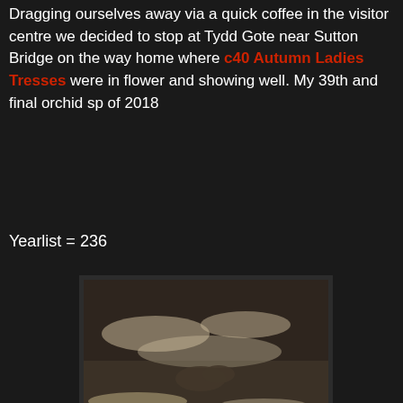Dragging ourselves away via a quick coffee in the visitor centre we decided to stop at Tydd Gote near Sutton Bridge on the way home where c40 Autumn Ladies Tresses were in flower and showing well. My 39th and final orchid sp of 2018
Yearlist = 236
[Figure (photo): A shorebird/wader bird standing in shallow reflective water, photographed in low light. The water shows bright highlights. Another bird or rock formation is visible in the background.]
[Figure (photo): Partial view of a second photo, appearing to show sandy/muddy terrain with many small dots, likely birds on a mudflat.]